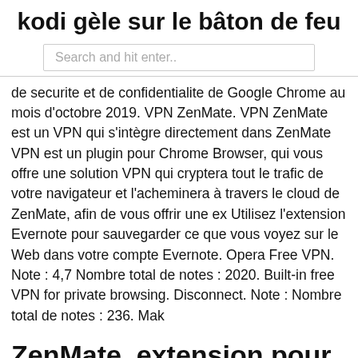kodi gèle sur le bâton de feu
Search and hit enter..
de securite et de confidentialite de Google Chrome au mois d'octobre 2019. VPN ZenMate. VPN ZenMate est un VPN qui s'intègre directement dans ZenMate VPN est un plugin pour Chrome Browser, qui vous offre une solution VPN qui cryptera tout le trafic de votre navigateur et l'acheminera à travers le cloud de ZenMate, afin de vous offrir une ex Utilisez l'extension Evernote pour sauvegarder ce que vous voyez sur le Web dans votre compte Evernote. Opera Free VPN. Note : 4,7 Nombre total de notes : 2020. Built-in free VPN for private browsing. Disconnect. Note : Nombre total de notes : 236. Mak
ZenMate, extension pour Firefox. de Tesgaz » 10 Aoû 2015, 17:04 . Bonjour tous le monde. Cela faisait un